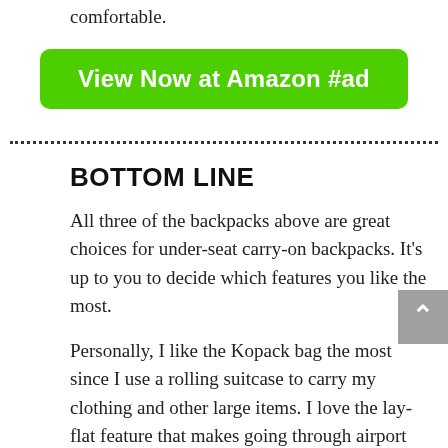comfortable.
[Figure (other): Green rounded rectangle button with white bold text reading 'View Now at Amazon #ad']
· · · · · · · · · · · · · · · · · · · · · · · · · · · · · · · · · · · · · · · · · (dotted rule)
BOTTOM LINE
All three of the backpacks above are great choices for under-seat carry-on backpacks. It's up to you to decide which features you like the most.
Personally, I like the Kopack bag the most since I use a rolling suitcase to carry my clothing and other large items. I love the lay-flat feature that makes going through airport